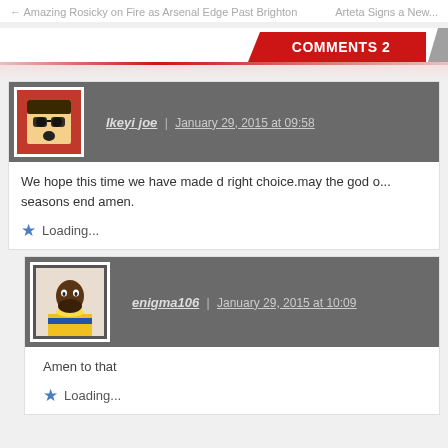← Amazing Rosicky on Fire as Arsenal Edge Past Brighton | Arteta Signs a New...
COMMENTS 2
Ikeyi joe | January 29, 2015 at 09:58
We hope this time we have made d right choice.may the god o... seasons end amen.
Loading...
enigma106 | January 29, 2015 at 10:09
Amen to that
Loading...